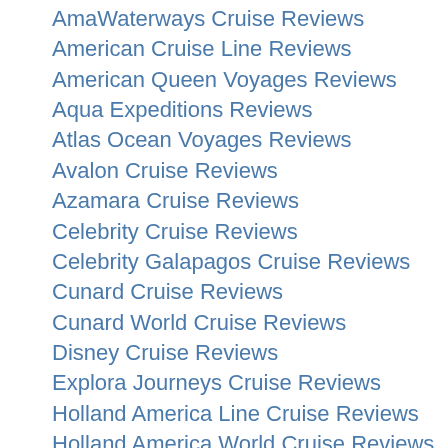AmaWaterways Cruise Reviews
American Cruise Line Reviews
American Queen Voyages Reviews
Aqua Expeditions Reviews
Atlas Ocean Voyages Reviews
Avalon Cruise Reviews
Azamara Cruise Reviews
Celebrity Cruise Reviews
Celebrity Galapagos Cruise Reviews
Cunard Cruise Reviews
Cunard World Cruise Reviews
Disney Cruise Reviews
Explora Journeys Cruise Reviews
Holland America Line Cruise Reviews
Holland America World Cruise Reviews
Hurtigruten Reviews